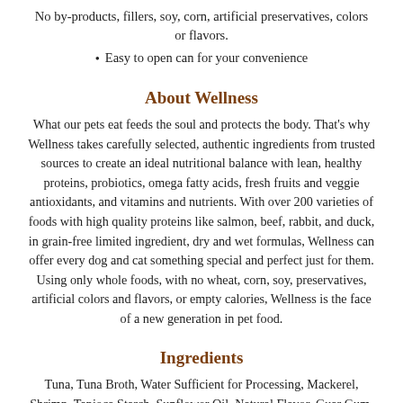No by-products, fillers, soy, corn, artificial preservatives, colors or flavors.
Easy to open can for your convenience
About Wellness
What our pets eat feeds the soul and protects the body. That's why Wellness takes carefully selected, authentic ingredients from trusted sources to create an ideal nutritional balance with lean, healthy proteins, probiotics, omega fatty acids, fresh fruits and veggie antioxidants, and vitamins and nutrients. With over 200 varieties of foods with high quality proteins like salmon, beef, rabbit, and duck, in grain-free limited ingredient, dry and wet formulas, Wellness can offer every dog and cat something special and perfect just for them. Using only whole foods, with no wheat, corn, soy, preservatives, artificial colors and flavors, or empty calories, Wellness is the face of a new generation in pet food.
Ingredients
Tuna, Tuna Broth, Water Sufficient for Processing, Mackerel, Shrimp, Tapioca Starch, Sunflower Oil, Natural Flavor, Guar Gum, Tricalcium Phosphate, Taurine, Magnesium Sulfate, Vitamins ...